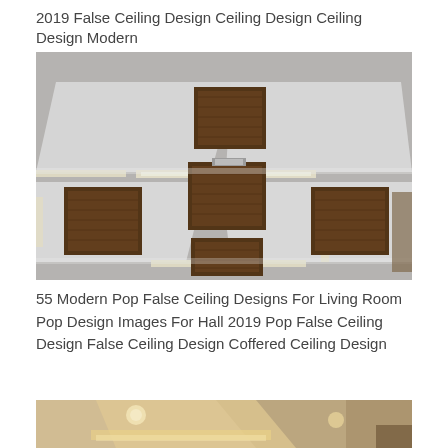2019 False Ceiling Design Ceiling Design Ceiling Design Modern
[Figure (photo): Modern false ceiling design with geometric white panels featuring recessed LED lighting strips and wooden/dark brown square inset panels arranged in a stepped pattern on a white ceiling.]
55 Modern Pop False Ceiling Designs For Living Room Pop Design Images For Hall 2019 Pop False Ceiling Design False Ceiling Design Coffered Ceiling Design
[Figure (photo): Another false ceiling design with warm LED lighting in a room, showing layered geometric ceiling panels with recessed warm-toned lights.]